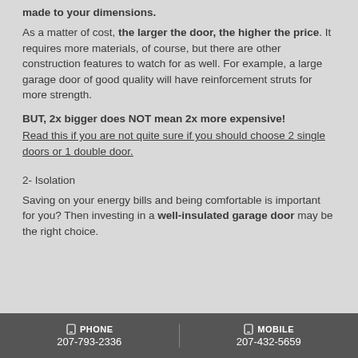made to your dimensions.
As a matter of cost, the larger the door, the higher the price. It requires more materials, of course, but there are other construction features to watch for as well. For example, a large garage door of good quality will have reinforcement struts for more strength.
BUT, 2x bigger does NOT mean 2x more expensive! Read this if you are not quite sure if you should choose 2 single doors or 1 double door.
2- Isolation
Saving on your energy bills and being comfortable is important for you? Then investing in a well-insulated garage door may be the right choice.
PHONE 207-793-2336 | MOBILE 207-432-5659